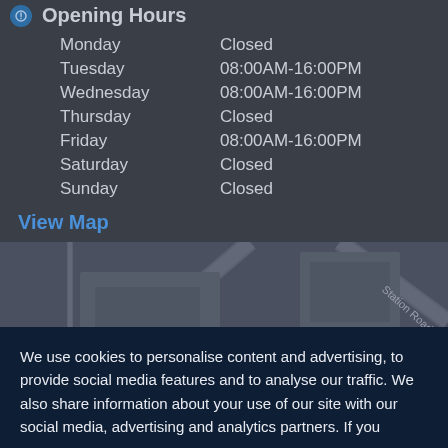Opening Hours
Monday   Closed
Tuesday   08:00AM-16:00PM
Wednesday   08:00AM-16:00PM
Thursday   Closed
Friday   08:00AM-16:00PM
Saturday   Closed
Sunday   Closed
View Map
[Figure (map): Street map showing Hunter Close and Station Road area]
We use cookies to personalise content and advertising, to provide social media features and to analyse our traffic. We also share information about your use of our site with our social media, advertising and analytics partners. If you